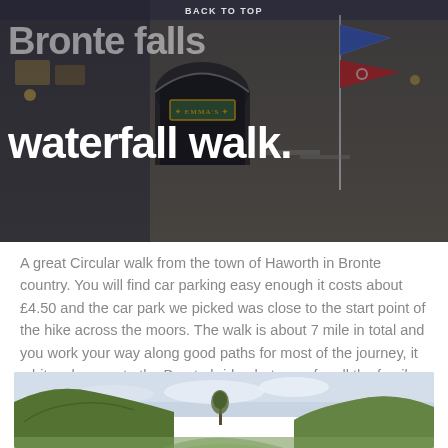[Figure (photo): Hero image of Haworth town street with Emma's pub/restaurant, stone buildings, arch doorway, and flags on a pole (blue and red flags). Dark overlay with white text overlaid.]
BACK TO TOP
Bronte falls waterfall walk.
A great Circular walk from the town of Haworth in Bronte country. You will find car parking easy enough it costs about £4.50 and the car park we picked was close to the start point of the hike across the moors. The walk is about 7 mile in total and you work your way along good paths for most of the journey, it a bit rocky near to the Bronte bridge but easy for all the family.
[Figure (photo): Landscape photo of a valley/moorland scene with green grassy hills on either side, a tree in the middle distance, and a cloudy sky — typical Yorkshire moors landscape near Bronte country.]